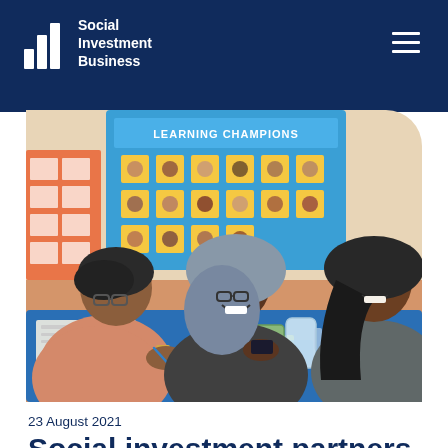Social Investment Business
[Figure (photo): Three women wearing headscarves sitting at a table in a classroom setting. There is a 'Learning Champions' bulletin board in the background. The women are looking at papers and smiling, with mugs and glass pitchers of water on the blue tablecloth.]
23 August 2021
Social investment partners